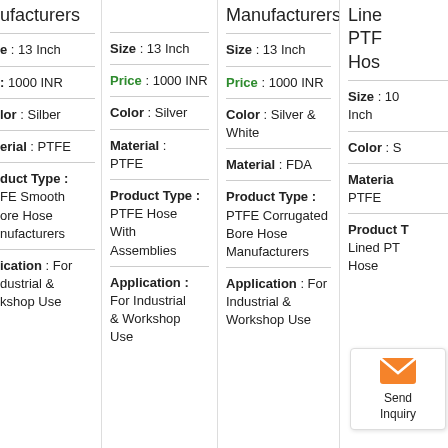ufacturers
e : 13 Inch
: 1000 INR
lor : Silber
erial : PTFE
duct Type : FE Smooth ore Hose nufacturers
ication : For dustrial & kshop Use
Size : 13 Inch
Price : 1000 INR
Color : Silver
Material : PTFE
Product Type : PTFE Hose With Assemblies
Application : For Industrial & Workshop Use
Manufacturers
Size : 13 Inch
Price : 1000 INR
Color : Silver & White
Material : FDA
Product Type : PTFE Corrugated Bore Hose Manufacturers
Application : For Industrial & Workshop Use
Lined PTFE Hose
Size : 10 Inch
Color : S
Material PTFE
Product T Lined PT Hose
Send Inquiry